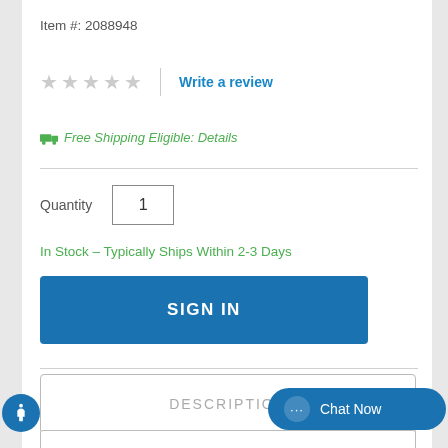Item #: 2088948
★★★★★  |  Write a review
🚚 Free Shipping Eligible: Details
Quantity  1
In Stock – Typically Ships Within 2-3 Days
SIGN IN
DESCRIPTION
Chat Now